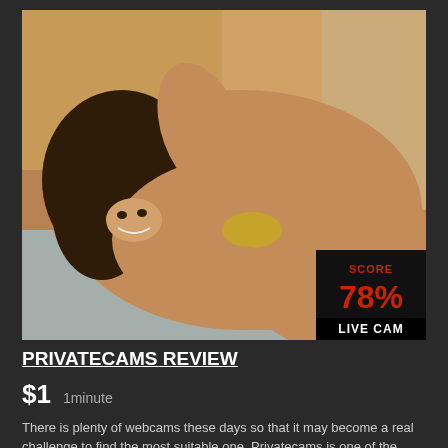[Figure (photo): Woman in bikini lying down, smiling at camera, warm toned photo with score overlay showing 78% and LIVE CAM label]
PRIVATECAMS REVIEW
$1  1minute
There is plenty of webcams these days so that it may become a real challenge to find the most suitable one. Privatecams is one of the numerous portals which provide...